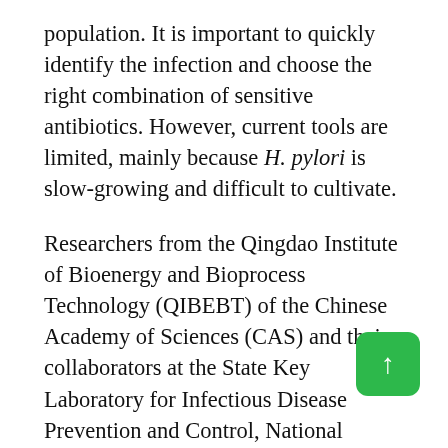population. It is important to quickly identify the infection and choose the right combination of sensitive antibiotics. However, current tools are limited, mainly because H. pylori is slow-growing and difficult to cultivate.
Researchers from the Qingdao Institute of Bioenergy and Bioprocess Technology (QIBEBT) of the Chinese Academy of Sciences (CAS) and their collaborators at the State Key Laboratory for Infectious Disease Prevention and Control, National Institute for Infectious Disease Control and Prevention (ICDC) of China CDC and Qingdao Municipal Hospital have developed a medical tool called Clinical Antimicrobial Susceptibility Ramanometry for Helicobacter pylori (CAST-R-HP), which...